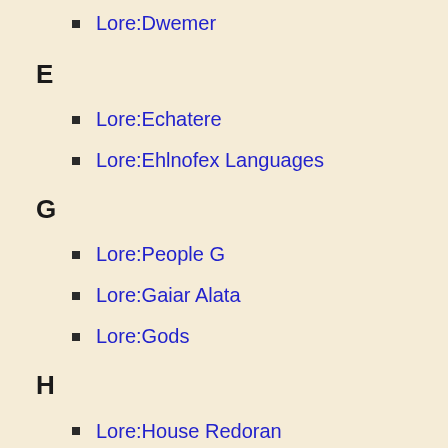Lore:Dwemer
E
Lore:Echatere
Lore:Ehlnofex Languages
G
Lore:People G
Lore:Gaiar Alata
Lore:Gods
H
Lore:House Redoran
Lore:House Telvanni
I